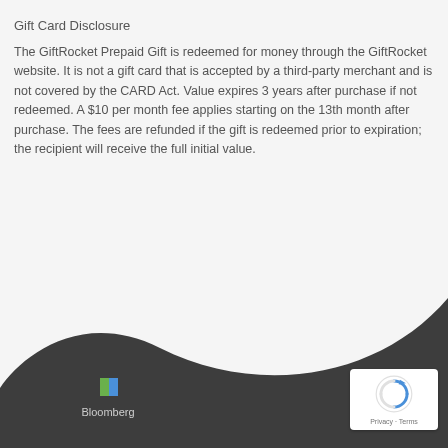Gift Card Disclosure
The GiftRocket Prepaid Gift is redeemed for money through the GiftRocket website. It is not a gift card that is accepted by a third-party merchant and is not covered by the CARD Act. Value expires 3 years after purchase if not redeemed. A $10 per month fee applies starting on the 13th month after purchase. The fees are refunded if the gift is redeemed prior to expiration; the recipient will receive the full initial value.
[Figure (illustration): Dark gray wave shape forming the bottom background of the page, with Bloomberg and Mashable logos in the dark footer area and a reCAPTCHA badge in the bottom right corner.]